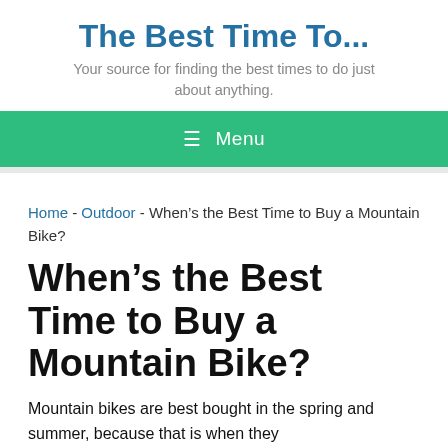The Best Time To...
Your source for finding the best times to do just about anything.
≡ Menu
Home - Outdoor - When’s the Best Time to Buy a Mountain Bike?
When’s the Best Time to Buy a Mountain Bike?
Mountain bikes are best bought in the spring and summer, because that is when they